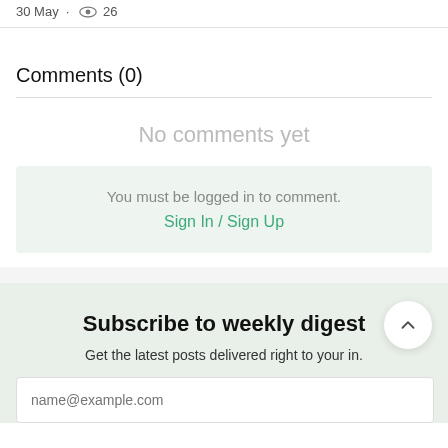30 May · 👁 26
Comments (0)
No comments yet
You must be logged in to comment. Sign In / Sign Up
Subscribe to weekly digest
Get the latest posts delivered right to your in.
name@example.com